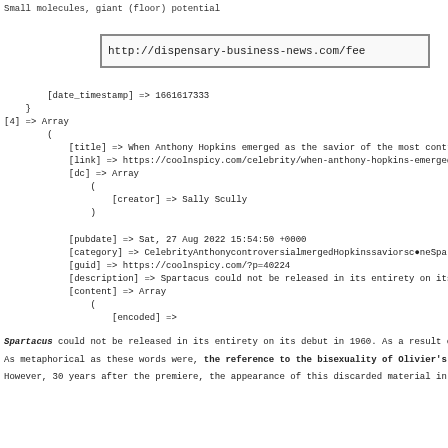Small molecules, giant (floor) potential
[Figure (screenshot): Browser URL bar showing: http://dispensary-business-news.com/fee]
[date_timestamp] => 1661617333
}
[4] => Array
    (
        [title] => When Anthony Hopkins emerged as the savior of the most contro
        [link] => https://coolnspicy.com/celebrity/when-anthony-hopkins-emerged-
        [dc] => Array
            (
                [creator] => Sally Scully
            )

        [pubdate] => Sat, 27 Aug 2022 15:54:50 +0000
        [category] => CelebrityAnthonycontroversialmergedHopkinssaviorscOneSpan
        [guid] => https://coolnspicy.com/?p=40224
        [description] => Spartacus could not be released in its entirety on its
        [content] => Array
            (
                [encoded] =>
Spartacus could not be released in its entirety on its debut in 1960. As a result of the Hay
As metaphorical as these words were, the reference to the bisexuality of Olivier's role was
However, 30 years after the premiere, the appearance of this discarded material in the Unive